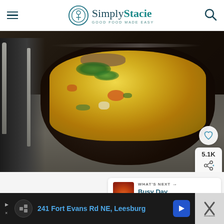[Figure (screenshot): Simply Stacie website header with hamburger menu, logo, and search icon]
[Figure (photo): A dark bowl filled with creamy yellow soup containing vegetables (carrots, celery), ground meat, and fresh herbs (mint/parsley), placed on a gray placemat next to a fork and spoon]
5.1K
WHAT'S NEXT → Busy Day Soup
241 Fort Evans Rd NE, Leesburg